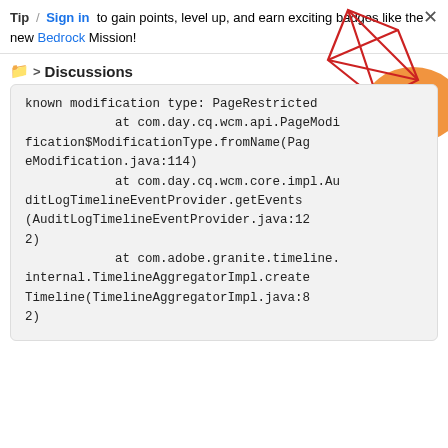Tip / Sign in to gain points, level up, and earn exciting badges like the new Bedrock Mission!
Discussions
known modification type: PageRestricted
            at com.day.cq.wcm.api.PageModification$ModificationType.fromName(PageModification.java:114)
            at com.day.cq.wcm.core.impl.AuditLogTimelineEventProvider.getEvents(AuditLogTimelineEventProvider.java:122)
            at com.adobe.granite.timeline.internal.TimelineAggregatorImpl.createTimeline(TimelineAggregatorImpl.java:82)